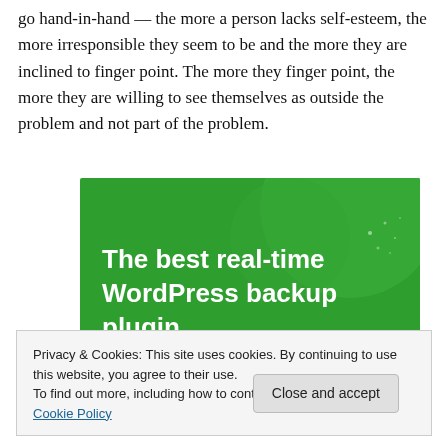go hand-in-hand — the more a person lacks self-esteem, the more irresponsible they seem to be and the more they are inclined to finger point. The more they finger point, the more they are willing to see themselves as outside the problem and not part of the problem.
[Figure (other): Green banner advertisement for WordPress backup plugin with text 'The best real-time WordPress backup plugin' in white bold text on green background with decorative circular shapes]
Privacy & Cookies: This site uses cookies. By continuing to use this website, you agree to their use.
To find out more, including how to control cookies, see here: Cookie Policy
Close and accept